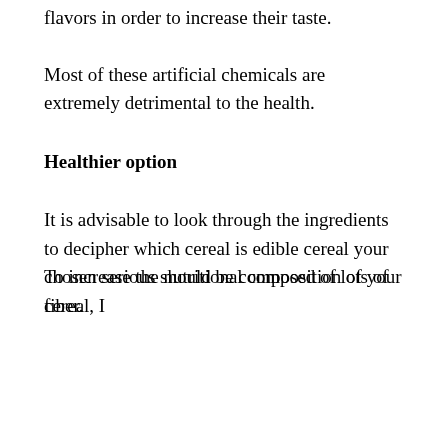flavors in order to increase their taste.
Most of these artificial chemicals are extremely detrimental to the health.
Healthier option
It is advisable to look through the ingredients to decipher which cereal is edible cereal your chosen serious should be composed of lots of fiber.
To increase the nutritional composition of your cereal, I